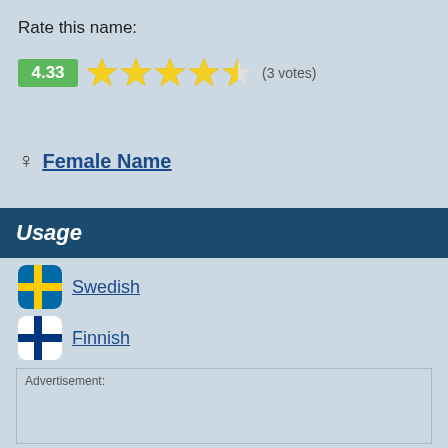Rate this name:
[Figure (other): Rating display showing score 4.33 in green box, 4.5 yellow stars (4 full, 1 half), and (3 votes) text]
♀ Female Name
Usage
Swedish
Finnish
Advertisement: